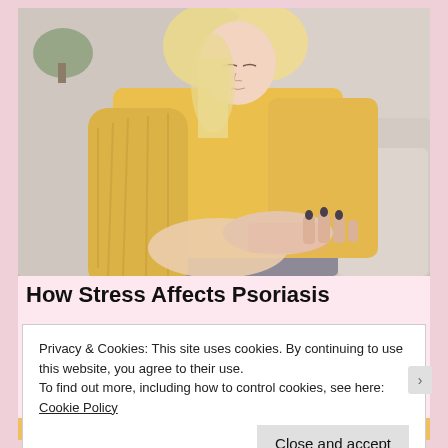[Figure (photo): A blonde woman in a yellow knit sweater sitting on a couch, looking down and scratching or examining her arm/wrist area, suggesting a skin condition such as psoriasis.]
How Stress Affects Psoriasis
Privacy & Cookies: This site uses cookies. By continuing to use this website, you agree to their use.
To find out more, including how to control cookies, see here: Cookie Policy
Close and accept